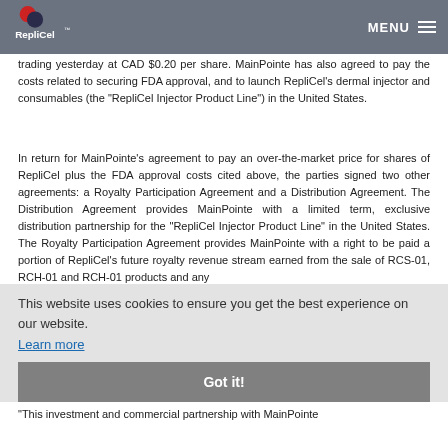RepliCel | MENU
trading yesterday at CAD $0.20 per share. MainPointe has also agreed to pay the costs related to securing FDA approval, and to launch RepliCel's dermal injector and consumables (the "RepliCel Injector Product Line") in the United States.
In return for MainPointe's agreement to pay an over-the-market price for shares of RepliCel plus the FDA approval costs cited above, the parties signed two other agreements: a Royalty Participation Agreement and a Distribution Agreement. The Distribution Agreement provides MainPointe with a limited term, exclusive distribution partnership for the "RepliCel Injector Product Line" in the United States. The Royalty Participation Agreement provides MainPointe with a right to be paid a portion of RepliCel's future royalty revenue stream earned from the sale of RCS-01, RCH-01 and RCH-01 products and any
Management Commentary:
"This investment and commercial partnership with MainPointe